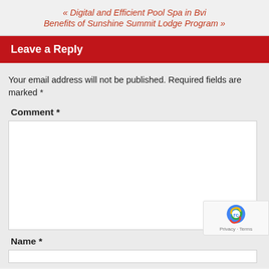« Digital and Efficient Pool Spa in Bvi
Benefits of Sunshine Summit Lodge Program »
Leave a Reply
Your email address will not be published. Required fields are marked *
Comment *
Name *